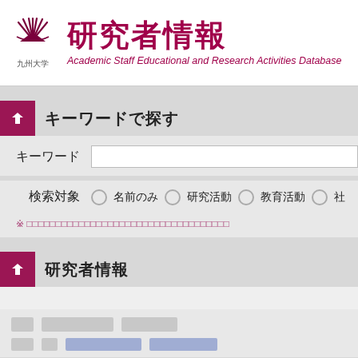[Figure (logo): Kyushu University logo emblem with sunburst/fan design, with text 九州大学 below]
研究者情報
Academic Staff Educational and Research Activities Database
キーワードで探す
キーワード [text input field]
検索対象  ○ 名前のみ  ○ 研究活動  ○ 教育活動  ○ 社…
※ [note text in Japanese - redacted/placeholder characters]
研究者情報
[placeholder row 1 with blocks]
[placeholder row 2 with links]